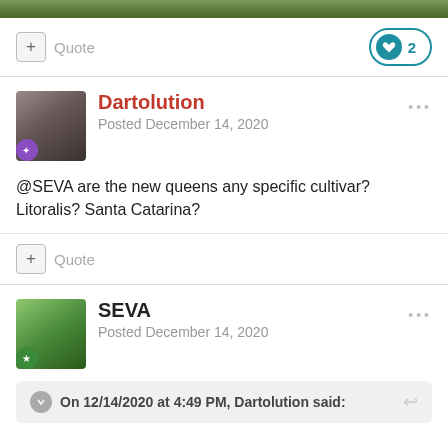[Figure (photo): Top banner image showing green foliage/nature scene]
+ Quote   ❤ 2
Dartolution
Posted December 14, 2020
@SEVA are the new queens any specific cultivar? Litoralis? Santa Catarina?
+ Quote
SEVA
Posted December 14, 2020
On 12/14/2020 at 4:49 PM, Dartolution said: